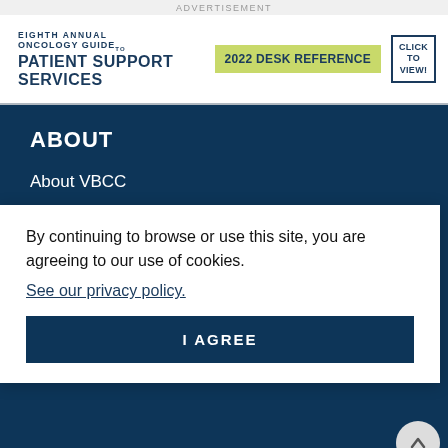ADVERTISEMENT
[Figure (infographic): Eighth Annual Oncology Guide to Patient Support Services – 2022 Desk Reference banner advertisement with click to view button]
ABOUT
About VBCC
Mission Statement
Editorial Advisory Board
By continuing to browse or use this site, you are agreeing to our use of cookies.
See our privacy policy.
I AGREE
PUBLICATIONS